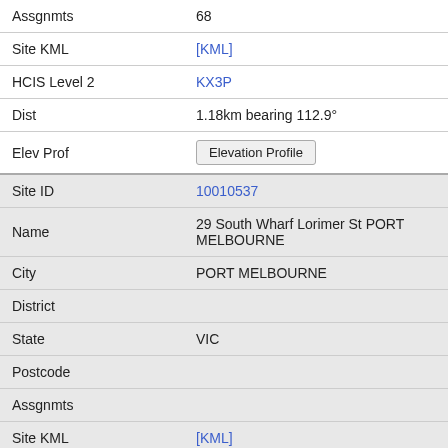| Assgnmts | 68 |
| Site KML | [KML] |
| HCIS Level 2 | KX3P |
| Dist | 1.18km bearing 112.9° |
| Elev Prof | Elevation Profile |
| Site ID | 10010537 |
| Name | 29 South Wharf Lorimer St PORT MELBOURNE |
| City | PORT MELBOURNE |
| District |  |
| State | VIC |
| Postcode |  |
| Assgnmts |  |
| Site KML | [KML] |
| HCIS Level 2 | KX3P |
| Dist | 1.18km bearing 107.2° |
| Elev Prof | Elevation Profile |
| Site ID | 305030 |